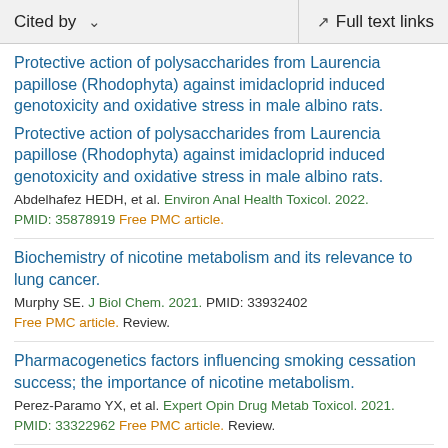Cited by   ∨   Full text links
Protective action of polysaccharides from Laurencia papillose (Rhodophyta) against imidacloprid induced genotoxicity and oxidative stress in male albino rats.
Abdelhafez HEDH, et al. Environ Anal Health Toxicol. 2022. PMID: 35878919 Free PMC article.
Biochemistry of nicotine metabolism and its relevance to lung cancer.
Murphy SE. J Biol Chem. 2021. PMID: 33932402 Free PMC article. Review.
Pharmacogenetics factors influencing smoking cessation success; the importance of nicotine metabolism.
Perez-Paramo YX, et al. Expert Opin Drug Metab Toxicol. 2021. PMID: 33322962 Free PMC article. Review.
Mechanisms of Herb-Drug Interactions Involving